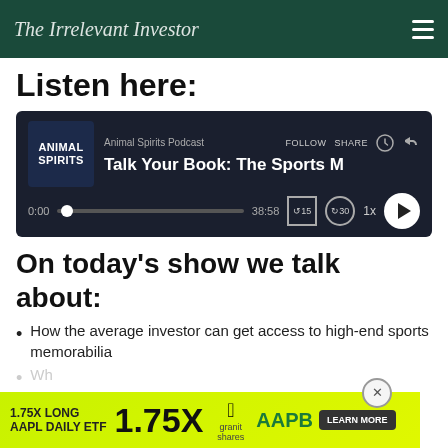The Irrelevant Investor
Listen here:
[Figure (screenshot): Podcast player widget showing Animal Spirits Podcast episode 'Talk Your Book: The Sports M...' at 0:00 of 38:58, with play button, progress bar, speed control at 1x, skip buttons for 15s and 30s.]
On today's show we talk about:
How the average investor can get access to high-end sports memorabilia
Wh...
H...
[Figure (infographic): Advertisement banner: 1.75X LONG AAPL DAILY ETF 1.75X with Apple logo, AAPB ticker, GraniteShares logo, and LEARN MORE button on yellow-green background.]